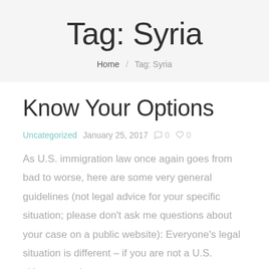Tag: Syria
Home / Tag: Syria
Know Your Options
Uncategorized   January 25, 2017   0   0
As U.S. immigration law once again goes from bad to worse, here are some very general guidelines (not legal advice for your specific situation; please don't ask me questions about your case on a public website): Everyone's legal situation is different – if you are not a U.S. citizen, speak to an